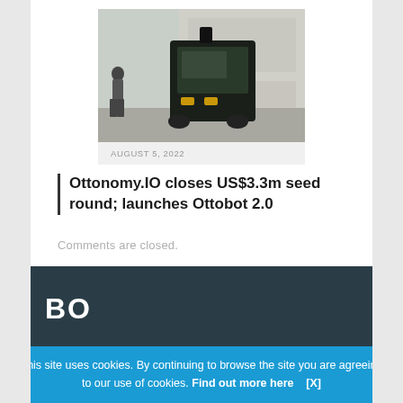[Figure (photo): A delivery robot on a street with a person walking in the background and a building facade visible.]
AUGUST 5, 2022
Ottonomy.IO closes US$3.3m seed round; launches Ottobot 2.0
Comments are closed.
[Figure (other): Dark teal footer area with partial text 'BO...' visible, partially obscured by cookie consent banner.]
This site uses cookies. By continuing to browse the site you are agreeing to our use of cookies. Find out more here   [X]